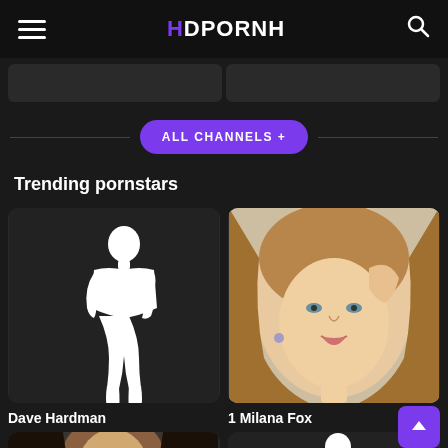HDPORNH
[Figure (screenshot): Two dark thumbnail placeholder cards at the top of the page]
ALL CHANNELS +
Trending pornstars
[Figure (photo): Left card: Dave Hardman - dark background with white female silhouette]
[Figure (photo): Right card: Milana Fox - blonde woman looking at camera, portrait photo]
Dave Hardman
1 Milana Fox
[Figure (photo): Bottom row partial: left card shows dark-haired woman, right card shows white silhouette on dark background]